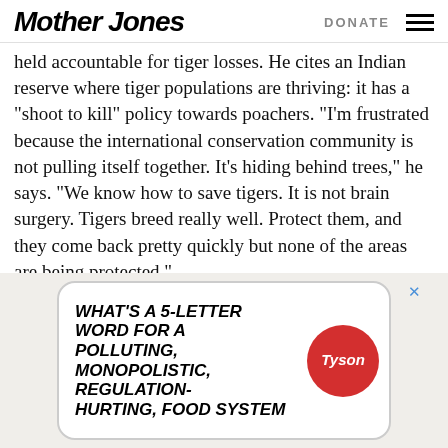Mother Jones | DONATE
held accountable for tiger losses. He cites an Indian reserve where tiger populations are thriving: it has a “shoot to kill” policy towards poachers. “I’m frustrated because the international conservation community is not pulling itself together. It’s hiding behind trees,” he says. “We know how to save tigers. It is not brain surgery. Tigers breed really well. Protect them, and they come back pretty quickly but none of the areas are being protected.”
[Figure (illustration): Advertisement for Tyson foods with comic-style text reading: WHAT'S A 5-LETTER WORD for A POLLUTING, MONOPOLISTIC, REGULATION-HURTING, FOOD SYSTEM with Tyson logo badge]